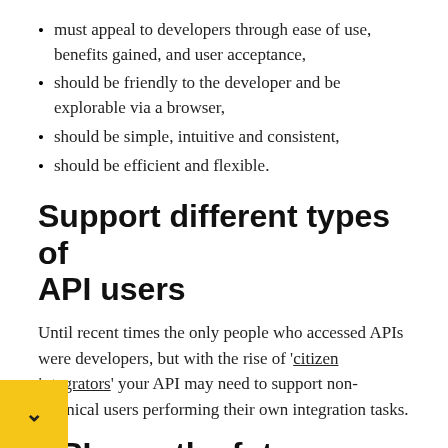must appeal to developers through ease of use, benefits gained, and user acceptance,
should be friendly to the developer and be explorable via a browser,
should be simple, intuitive and consistent,
should be efficient and flexible.
Support different types of API users
Until recent times the only people who accessed APIs were developers, but with the rise of 'citizen integrators' your API may need to support non-technical users performing their own integration tasks.
APIs are the future
APIs are not just something for an IT department to